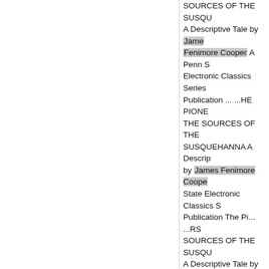SOURCES OF THE SUSQU A Descriptive Tale by James Fenimore Cooper A Penn S Electronic Classics Series Publication ... ...HE PIONE THE SOURCES OF THE SUSQUEHANNA A Descrip by James Fenimore Coope State Electronic Classics S Publication The Pi... ...RS SOURCES OF THE SUSQU A Descriptive Tale by Jame Fenimore Cooper A Penn S Electronic Classics Series Publication The Pioneers, The Pioneers, or The Sour Susquehanna, A Descripti James Fenimore Cooper is publication of the Pennsyl State University... ...e Pion